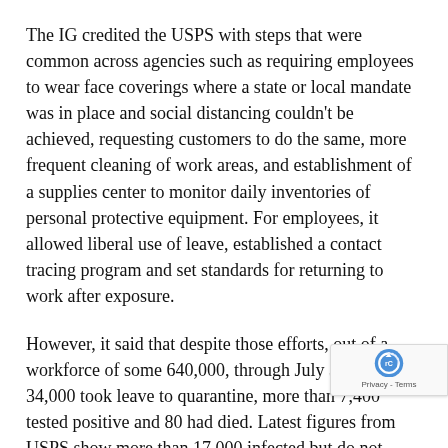The IG credited the USPS with steps that were common across agencies such as requiring employees to wear face coverings where a state or local mandate was in place and social distancing couldn’t be achieved, requesting customers to do the same, more frequent cleaning of work areas, and establishment of a supplies center to monitor daily inventories of personal protective equipment. For employees, it allowed liberal use of leave, established a contact tracing program and set standards for returning to work after exposure.
However, it said that despite those efforts, out of a workforce of some 640,000, through July 31 nearly 34,000 took leave to quarantine, more than 7,400 tested positive and 80 had died. Latest figures from USPS show more than 17,000 infected but do not show a number of deaths.
It said that in reviews of more than 100 facilities con…